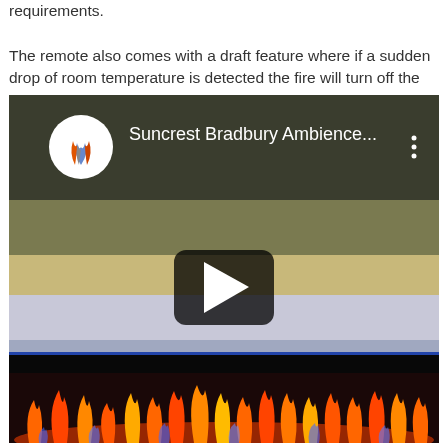requirements. The remote also comes with a draft feature where if a sudden drop of room temperature is detected the fire will turn off the heat immediately.
[Figure (screenshot): YouTube video embed showing 'Suncrest Bradbury Ambience...' with a fireplace video thumbnail. The video player shows a dark background with colorful fire flames at the bottom and a play button in the center. Top area shows the video title bar with the Suncrest logo (flame icon), the video title 'Suncrest Bradbury Ambience...' and a three-dot menu. The middle section shows gradient color bands (olive, tan, lavender). The bottom shows electric fireplace flames in orange, red and blue.]